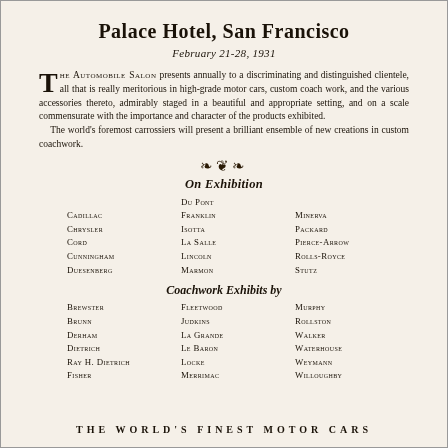Palace Hotel, San Francisco
February 21-28, 1931
THE AUTOMOBILE SALON presents annually to a discriminating and distinguished clientele, all that is really meritorious in high-grade motor cars, custom coach work, and the various accessories thereto, admirably staged in a beautiful and appropriate setting, and on a scale commensurate with the importance and character of the products exhibited.
    The world's foremost carrossiers will present a brilliant ensemble of new creations in custom coachwork.
On Exhibition
Cadillac
Du Pont
Minerva
Chrysler
Franklin
Packard
Cord
Isotta
Pierce-Arrow
Cunningham
La Salle
Rolls-Royce
Duesenberg
Lincoln
Stutz
Marmon
Coachwork Exhibits by
Brewster
Fleetwood
Murphy
Brunn
Judkins
Rollston
Derham
La Grande
Walker
Dietrich
Le Baron
Waterhouse
Ray H. Dietrich
Locke
Weymann
Fisher
Merrimac
Willoughby
THE WORLD'S FINEST MOTOR CARS